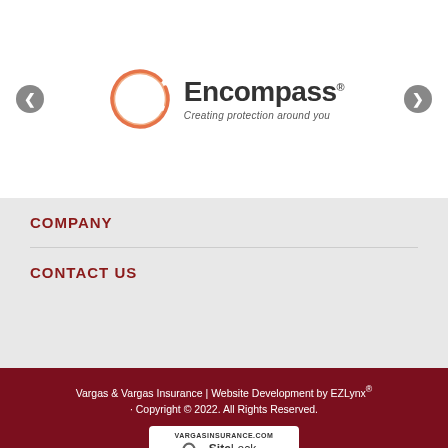[Figure (logo): Encompass insurance logo — orange hand-drawn circle with 'Encompass' in dark text and tagline 'Creating protection around you']
COMPANY
CONTACT US
Vargas & Vargas Insurance | Website Development by EZLynx® · Copyright © 2022. All Rights Reserved.
[Figure (illustration): SiteLock SECURE badge showing vargasinsurance.com, a padlock icon with checkmark, and 'Passed 29-Aug-2022']